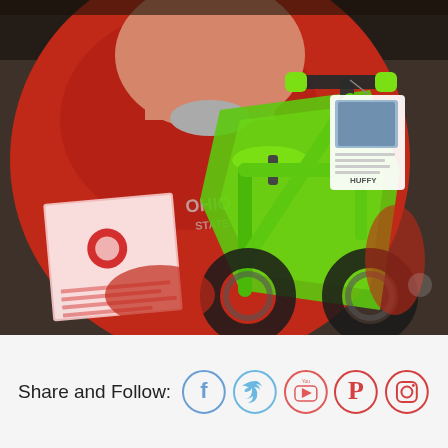[Figure (photo): A man wearing a red Ohio State sweatshirt holding a small bright green Huffy BMX-style bicycle with lime green handgrips and seat. A white tag hangs from the handlebars. A pink/red label document is visible on the left side of the bike.]
Share and Follow: